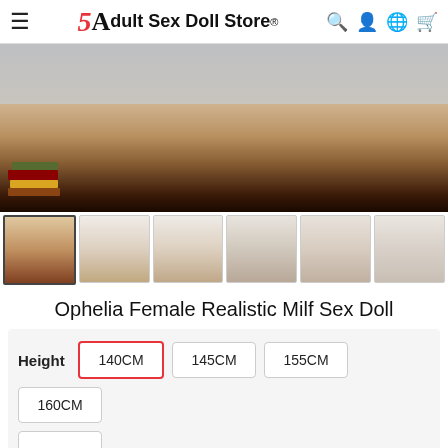Adult Sex Doll Store®
[Figure (photo): Main product photo of a sex doll in kneeling pose, with books visible on the left side]
[Figure (photo): Thumbnail gallery row showing 6 product images of the doll from various angles]
Ophelia Female Realistic Milf Sex Doll
Height  140CM  145CM  155CM  160CM